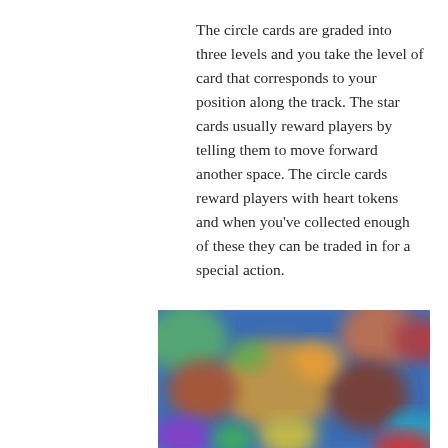The circle cards are graded into three levels and you take the level of card that corresponds to your position along the track. The star cards usually reward players by telling them to move forward another space. The circle cards reward players with heart tokens and when you've collected enough of these they can be traded in for a special action.
[Figure (photo): A blurred photograph of colorful board game cards or tokens spread out, featuring blue, orange, yellow, green, red, and purple colors on a blue background.]